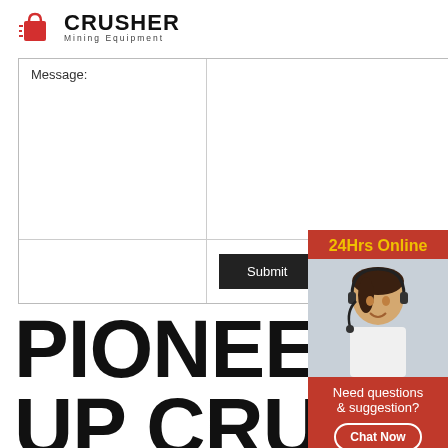[Figure (logo): Crusher Mining Equipment logo with red shopping bag icon and bold CRUSHER text]
| Message: |  |
|  | Submit |
PIONEER BU UP CRUSHER ROLLS
[Figure (infographic): 24Hrs Online sidebar with customer service representative photo, Need questions & suggestion? text, Chat Now button, Enquiry link, and limingjlmofen@sina.com email]